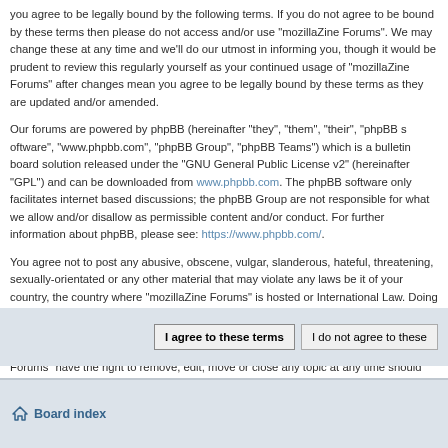you agree to be legally bound by the following terms. If you do not agree to be bound by these terms then please do not access and/or use "mozillaZine Forums". We may change these at any time and we'll do our utmost in informing you, though it would be prudent to review this regularly yourself as your continued usage of "mozillaZine Forums" after changes mean you agree to be legally bound by these terms as they are updated and/or amended.
Our forums are powered by phpBB (hereinafter "they", "them", "their", "phpBB software", "www.phpbb.com", "phpBB Group", "phpBB Teams") which is a bulletin board solution released under the "GNU General Public License v2" (hereinafter "GPL") and can be downloaded from www.phpbb.com. The phpBB software only facilitates internet based discussions; phpBB Limited, phpBB Teams are not responsible for what we allow and/or disallow as permissible content and/or conduct. For further information about phpBB, please see: https://www.phpbb.com/.
You agree not to post any abusive, obscene, vulgar, slanderous, hateful, threatening, sexually-orientated or any other material that may violate any laws be it of your country, the country where "mozillaZine Forums" is hosted or International Law. Doing so may lead to you being immediately and permanently banned, with notification of your Internet Service Provider if deemed required by us. The IP address of all posts are recorded to aid in enforcing these conditions. You agree that "mozillaZine Forums" have the right to remove, edit, move or close any topic at any time should we see fit. As a user you agree to any information you have entered to being stored in a database. While this information will not be disclosed to any third party without your consent, neither "mozillaZine Forums" nor phpBB shall be held responsible for any hacking attempt that may lead to the data being compromised.
I agree to these terms | I do not agree to these terms
Board index